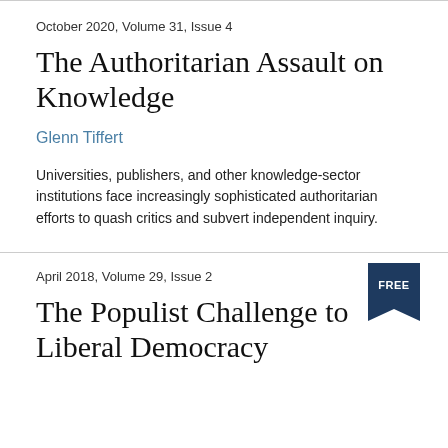October 2020, Volume 31, Issue 4
The Authoritarian Assault on Knowledge
Glenn Tiffert
Universities, publishers, and other knowledge-sector institutions face increasingly sophisticated authoritarian efforts to quash critics and subvert independent inquiry.
April 2018, Volume 29, Issue 2
The Populist Challenge to Liberal Democracy